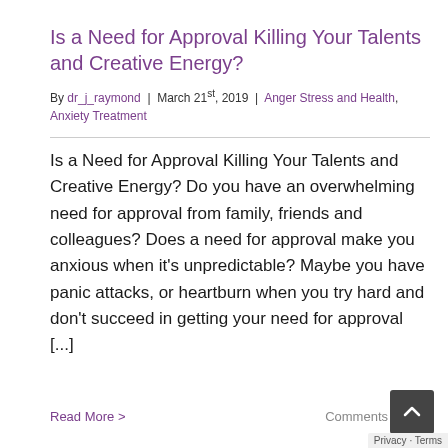Is a Need for Approval Killing Your Talents and Creative Energy?
By dr_j_raymond | March 21st, 2019 | Anger Stress and Health, Anxiety Treatment
Is a Need for Approval Killing Your Talents and Creative Energy? Do you have an overwhelming need for approval from family, friends and colleagues? Does a need for approval make you anxious when it’s unpredictable? Maybe you have panic attacks, or heartburn when you try hard and don’t succeed in getting your need for approval [...]
Read More >
Comments